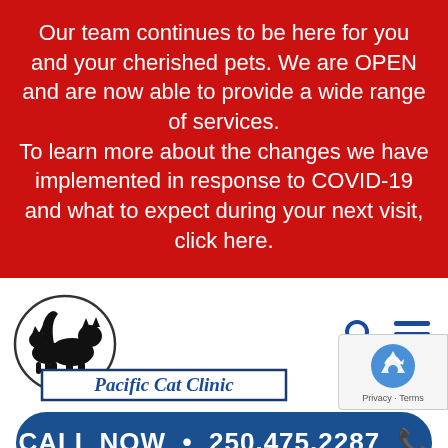Our team continues to be here for you and your cherished pets. We are OPEN and are now able to provide a wide range of services. To learn more about the changes we have implemented in response to COVID-19 and what to expect during your next visit, click here.
[Figure (logo): Pacific Cat Clinic logo with two black cat silhouettes inside a circle, clinic name in blue italic bold text inside a rectangular border]
CALL NOW • 250.475.2287
[Figure (photo): Partial photo of a cat visible at bottom of page]